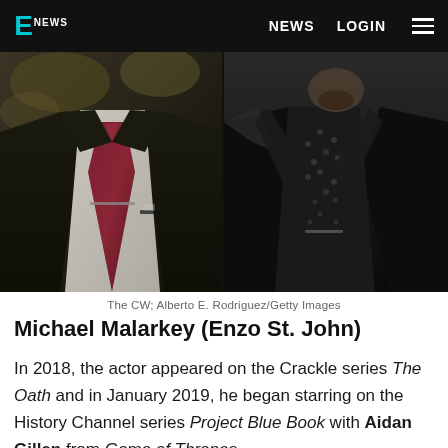E NEWS   NEWS   LOGIN
[Figure (photo): Two men in suits side by side. Left: man in dark suit with burgundy/red tie and white shirt. Right: man in black tuxedo with black patterned shirt and black lapels.]
The CW; Alberto E. Rodriguez/Getty Images
Michael Malarkey (Enzo St. John)
In 2018, the actor appeared on the Crackle series The Oath and in January 2019, he began starring on the History Channel series Project Blue Book with Aidan Gillen from Game of Thrones.